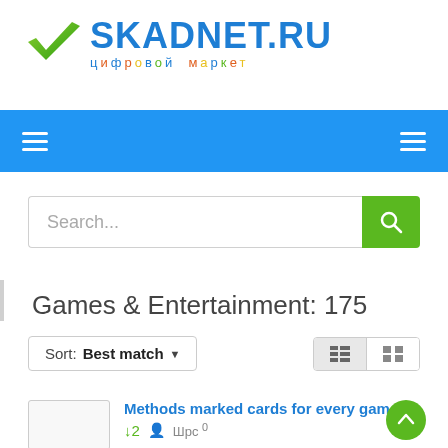[Figure (logo): SKADNET.RU logo with green checkmark and colorful Cyrillic subtitle цифровой маркет]
[Figure (screenshot): Blue navigation bar with two hamburger menu icons (white lines) on left and right]
[Figure (screenshot): Search bar with placeholder text 'Search...' and green search button with magnifying glass icon]
Games & Entertainment: 175
[Figure (screenshot): Sort dropdown showing 'Sort: Best match' with arrow, and view toggle buttons (list/grid) on the right]
Methods marked cards for every game
↓2  👤 Шрс °